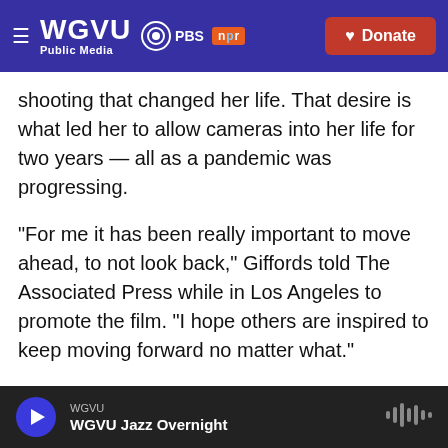WGVU Public Media | PBS | npr | Donate
shooting that changed her life. That desire is what led her to allow cameras into her life for two years — all as a pandemic was progressing.
"For me it has been really important to move ahead, to not look back," Giffords told The Associated Press while in Los Angeles to promote the film. "I hope others are inspired to keep moving forward no matter what."
From the filmmakers behind Academy Award-nominated Ruth Bader Ginsburg documentary "RBG," the film "Gabby Giffords Won't Back Down" is
WGVU | WGVU Jazz Overnight